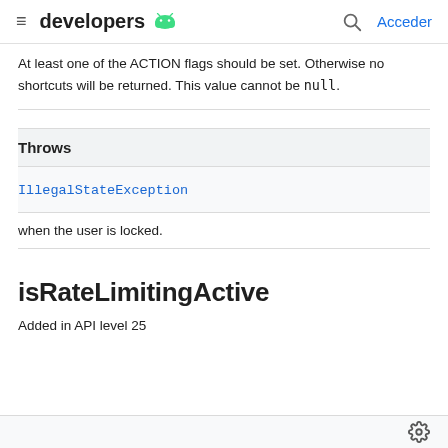developers [android logo] | Acceder
At least one of the ACTION flags should be set. Otherwise no shortcuts will be returned. This value cannot be null.
Throws
IllegalStateException
when the user is locked.
isRateLimitingActive
Added in API level 25